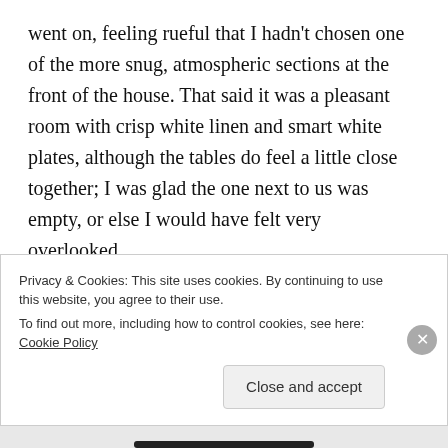went on, feeling rueful that I hadn't chosen one of the more snug, atmospheric sections at the front of the house. That said it was a pleasant room with crisp white linen and smart white plates, although the tables do feel a little close together; I was glad the one next to us was empty, or else I would have felt very overlooked.
The menu's one of the most difficult I've had to choose from. There is something magical about good
Privacy & Cookies: This site uses cookies. By continuing to use this website, you agree to their use.
To find out more, including how to control cookies, see here: Cookie Policy
Close and accept